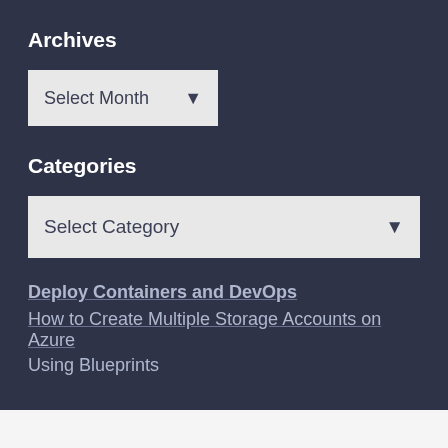Archives
Select Month
Categories
Select Category
Deploy Containers and DevOps
How to Create Multiple Storage Accounts on Azure
Using Blueprints